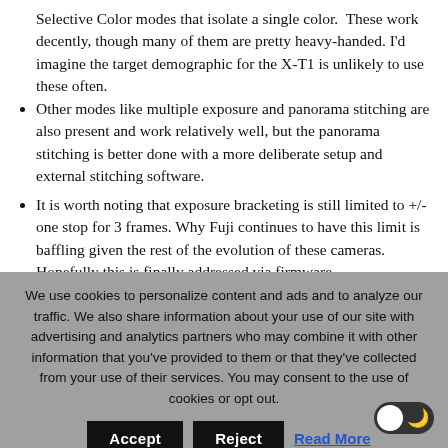Selective Color modes that isolate a single color. These work decently, though many of them are pretty heavy-handed. I'd imagine the target demographic for the X-T1 is unlikely to use these often.
Other modes like multiple exposure and panorama stitching are also present and work relatively well, but the panorama stitching is better done with a more deliberate setup and external stitching software.
It is worth noting that exposure bracketing is still limited to +/- one stop for 3 frames. Why Fuji continues to have this limit is baffling given the rest of the evolution of these cameras. Hopefully this is finally addressed via firmware
We use cookies to personalize content and ads and to analyze our traffic. We also share information about your use of our site with advertising and analytics partners who may combine it with other information that you've provided to them or that they've collected from your use of their services. You may consent to the use of cookies or opt out.